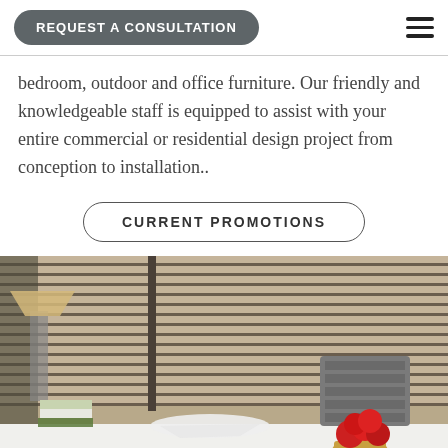REQUEST A CONSULTATION
bedroom, outdoor and office furniture. Our friendly and knowledgeable staff is equipped to assist with your entire commercial or residential design project from conception to installation..
CURRENT PROMOTIONS
[Figure (photo): Interior design photo showing a modern office/home workspace with horizontal ribbed fabric shade blinds on the wall, a white desk with papers, a table lamp, a gray ergonomic chair, and a gold vase with red flowers.]